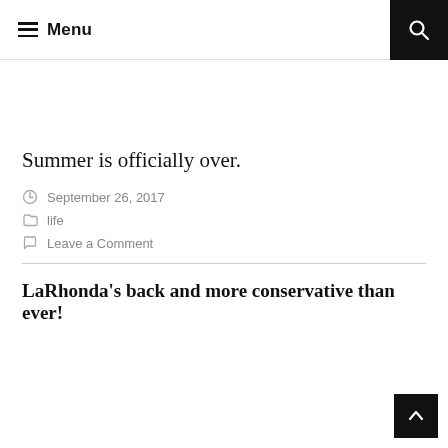Menu
Summer is officially over.
September 26, 2017
life
Leave a Comment
LaRhonda's back and more conservative than ever!